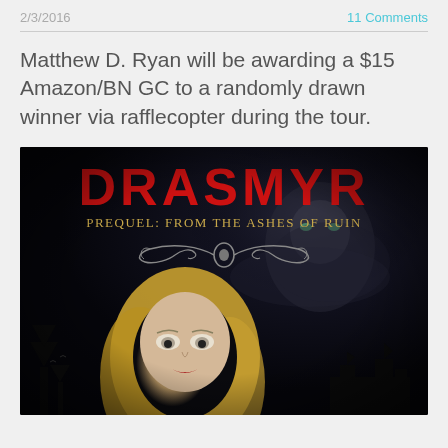2/3/2016   11 Comments
Matthew D. Ryan will be awarding a $15 Amazon/BN GC to a randomly drawn winner via rafflecopter during the tour.
[Figure (illustration): Book cover for DRASMYR - Prequel: From the Ashes of Ruin. Dark background with a blonde woman with pale eyes in front, a shadowy male figure behind, gothic ornamental design, and dark trees/castle silhouette at bottom. Title 'DRASMYR' in large red letters, subtitle 'Prequel: From the Ashes of Ruin' in gold/tan serif text.]